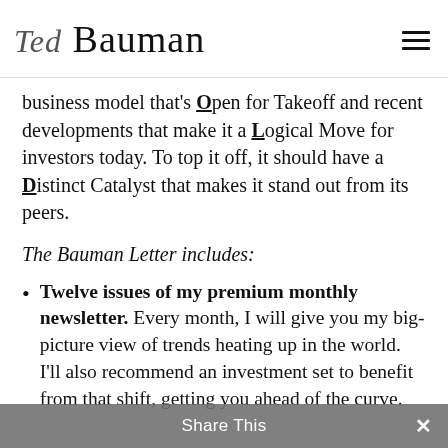Ted Bauman
business model that's Open for Takeoff and recent developments that make it a Logical Move for investors today. To top it off, it should have a Distinct Catalyst that makes it stand out from its peers.
The Bauman Letter includes:
Twelve issues of my premium monthly newsletter. Every month, I will give you my big-picture view of trends heating up in the world. I'll also recommend an investment set to benefit from that shift, getting you ahead of the curve. Be it fast-moving stocks, steady income-generating real estate investment trusts, bonds
Share This